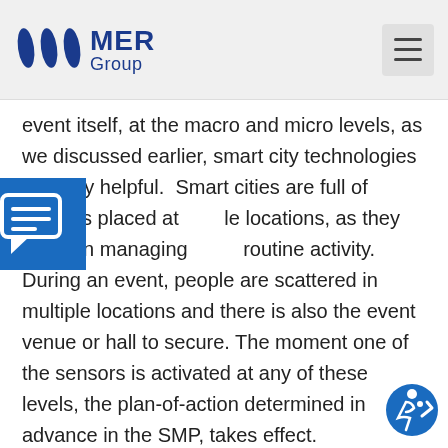MER Group
event itself, at the macro and micro levels, as we discussed earlier, smart city technologies are very helpful. Smart cities are full of sensors placed at multiple locations, as they assist in managing routine activity. During an event, people are scattered in multiple locations and there is also the event venue or hall to secure. The moment one of the sensors is activated at any of these levels, the plan-of-action determined in advance in the SMP, takes effect.

For this purpose, it is better to use a command
[Figure (illustration): Blue chat/message bubble icon on blue square background]
[Figure (illustration): Accessibility wheelchair icon badge in blue circle with checkmark]